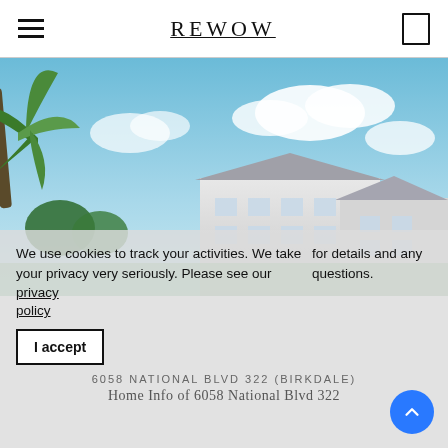REWOW
[Figure (photo): Exterior rendering of a residential apartment building with palm trees and blue sky with clouds in the background.]
We use cookies to track your activities. We take your privacy very seriously. Please see our privacy policy for details and any questions.
6058 NATIONAL BLVD 322 (BIRKDALE)
Home Info of 6058 National Blvd 322